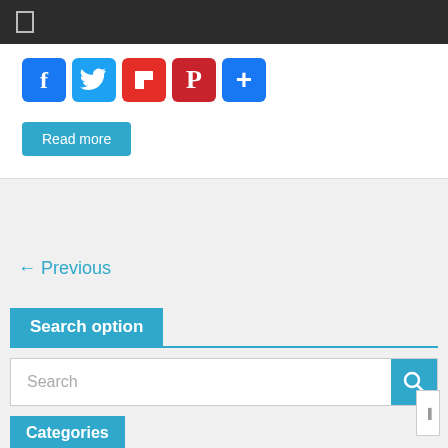[Figure (screenshot): Dark top navigation bar with hamburger menu icon]
[Figure (infographic): Social share icons row: Facebook (blue), Twitter (blue), Flipboard (red), Pinterest (red), Share/Plus (blue)]
Read more
← Previous
Search option
Search
Categories